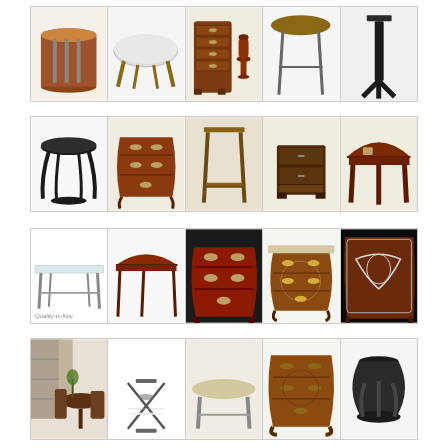[Figure (photo): Grid of 20 furniture product photos arranged in 4 rows of 5 columns each, showing various antique and traditional wooden tables, chests, and accent pieces including round tables, console tables, bombe chests, nightstands, and pedestal stands.]